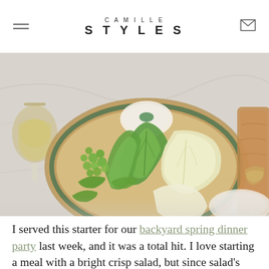CAMILLE STYLES
[Figure (photo): Overhead photo of a large rustic platter with assorted green vegetables including romaine lettuce, endive, peas, and snap peas arranged on a marble surface, with a bowl of white dip, a glass of wine, and a wooden board visible at the edges.]
I served this starter for our backyard spring dinner party last week, and it was a total hit. I love starting a meal with a bright crisp salad, but since salad's not ideal to serve in a mingle-y setting like this was, I decided to create a